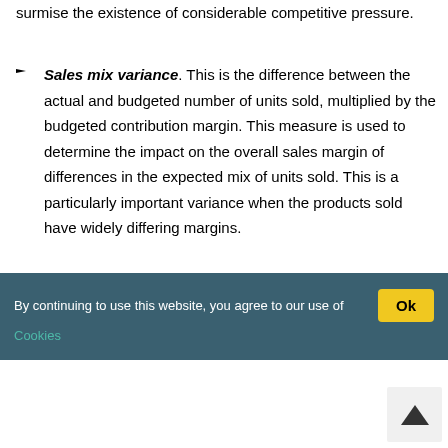surmise the existence of considerable competitive pressure.
Sales mix variance. This is the difference between the actual and budgeted number of units sold, multiplied by the budgeted contribution margin. This measure is used to determine the impact on the overall sales margin of differences in the expected mix of units sold. This is a particularly important variance when the products sold have widely differing margins.